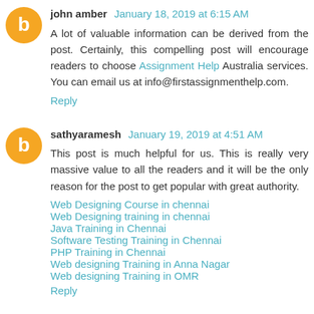john amber  January 18, 2019 at 6:15 AM
A lot of valuable information can be derived from the post. Certainly, this compelling post will encourage readers to choose Assignment Help Australia services. You can email us at info@firstassignmenthelp.com.
Reply
sathyaramesh  January 19, 2019 at 4:51 AM
This post is much helpful for us. This is really very massive value to all the readers and it will be the only reason for the post to get popular with great authority.
Web Designing Course in chennai
Web Designing training in chennai
Java Training in Chennai
Software Testing Training in Chennai
PHP Training in Chennai
Web designing Training in Anna Nagar
Web designing Training in OMR
Reply